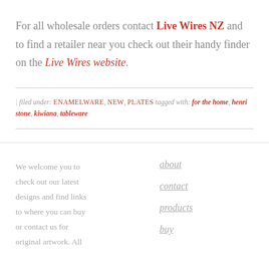For all wholesale orders contact Live Wires NZ and to find a retailer near you check out their handy finder on the Live Wires website.
| filed under: ENAMELWARE, NEW, PLATES tagged with: for the home, henri stone, kiwiana, tableware
We welcome you to check out our latest designs and find links to where you can buy or contact us for original artwork. All
about
contact
products
buy